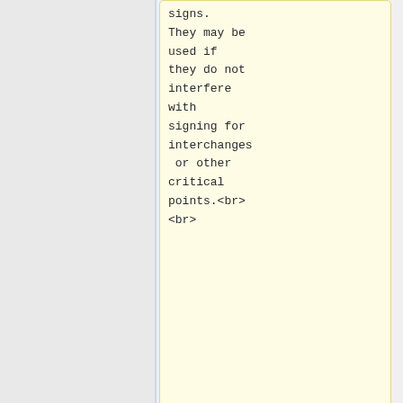signs.
They may be used if they do not interfere with signing for interchanges or other critical points.<br><br>
== City of Overland Park Guidelines for Installation : ==
== City of Overland Park Guidelines for Installation : ==